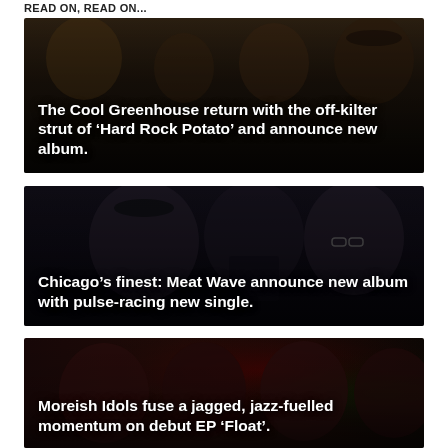READ ON, READ ON...
[Figure (photo): Band photo of The Cool Greenhouse, dark moody group shot]
The Cool Greenhouse return with the off-kilter strut of ‘Hard Rock Potato’ and announce new album.
[Figure (photo): Band photo of Meat Wave, three members seated in dark setting]
Chicago’s finest: Meat Wave announce new album with pulse-racing new single.
[Figure (photo): Photo of Moreish Idols band members in red-tinted lighting]
Moreish Idols fuse a jagged, jazz-fuelled momentum on debut EP ‘Float’.